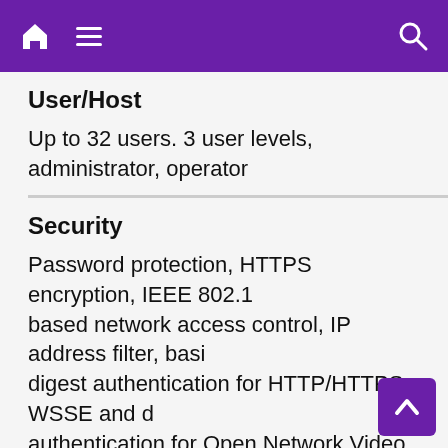Navigation bar with home, hamburger menu, and search icons
User/Host
Up to 32 users. 3 user levels, administrator, operator
Security
Password protection, HTTPS encryption, IEEE 802.1 based network access control, IP address filter, basic digest authentication for HTTP/HTTPS, WSSE and digest authentication for Open Network Video Interface, TL
Network Storage
NAS (NFS, SMB/CIFS), auto network replenishment